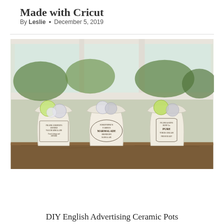Made with Cricut
By Leslie • December 5, 2019
[Figure (photo): Three white ceramic pots with vintage English advertising labels (Frank Cooper's Oxford Marmalade, Josephine's Famous Marmalade Broxburn, Frank Sons Pure Thick Cream Fresh Daily), each containing green and silver/clear Christmas ball ornaments, sitting on a wooden surface in front of a window with greenery visible outside.]
DIY English Advertising Ceramic Pots